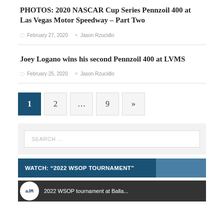PHOTOS: 2020 NASCAR Cup Series Pennzoil 400 at Las Vegas Motor Speedway – Part Two
February 27, 2020   Jason Rzucidlo
Joey Logano wins his second Pennzoil 400 at LVMS
February 25, 2020   Jason Rzucidlo
1  2  ...  9  »
SEARCH …
WATCH: "2022 WSOP TOURNAMENT"